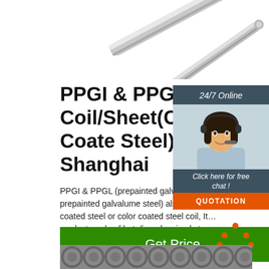[Figure (photo): Two shiny steel rods/bars on white background, top right corner]
PPGI & PPGL Coil/Sheet(Color Coated Steel)-Shanghai
[Figure (photo): Customer service chat widget: 24/7 Online label, woman with headset, Click here for free chat, QUOTATION button]
PPGI & PPGL (prepainted galvanized steel, prepainted galvalume steel) also known as color coated steel or color coated steel coil, It is a product made of hot-dip galvanized steel sheet, hot-dip galvalume steel sheet, electro galvanized steel sheet, etc.
[Figure (other): Green Get Price button]
[Figure (other): Orange TOP icon with dots forming triangle above text TOP]
[Figure (photo): Bottom strip showing steel pipes/tubes]